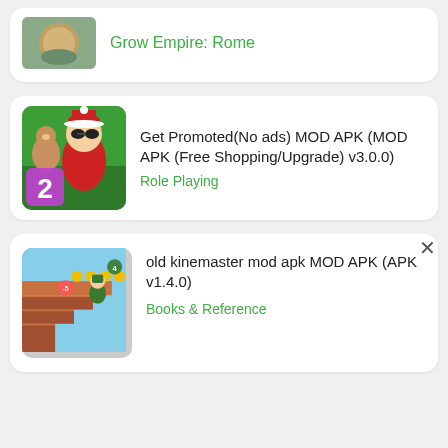Grow Empire: Rome
[Figure (screenshot): App icon for a role-playing game with a snow globe or boulder graphic]
Get Promoted(No ads) MOD APK (MOD APK (Free Shopping/Upgrade) v3.0.0)
Role Playing
[Figure (screenshot): App icon showing a Santa Claus character with a squirrel, with a purple number 2]
old kinemaster mod apk MOD APK (APK v1.4.0)
Books & Reference
[Figure (screenshot): App icon showing a platformer game with cartoon soldiers and coins on stepped terrain]